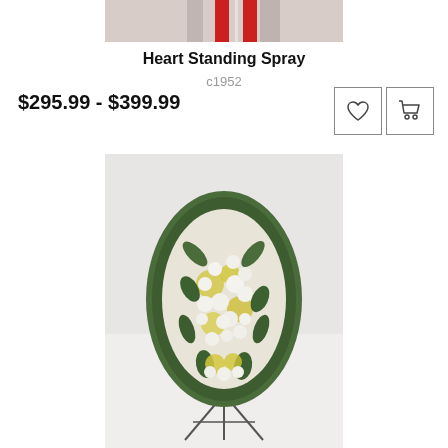[Figure (photo): Top portion of a heart-shaped standing flower spray arrangement with red elements, cropped at the top of the page]
Heart Standing Spray
c1952
$295.99 - $399.99
[Figure (photo): A full standing spray floral arrangement featuring white and yellow flowers (chrysanthemums, roses, carnations) with lush green foliage on a metal easel stand, displayed against a white background]